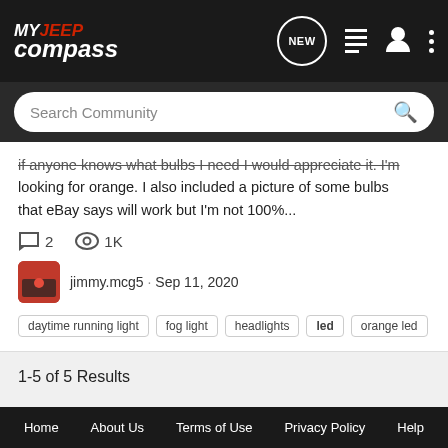MY JEEP compass
Search Community
if anyone knows what bulbs I need I would appreciate it. I'm looking for orange. I also included a picture of some bulbs that eBay says will work but I'm not 100%...
2  1K
jimmy.mcg5 · Sep 11, 2020
daytime running light
fog light
headlights
led
orange led
1-5 of 5 Results
< Search
Home  About Us  Terms of Use  Privacy Policy  Help